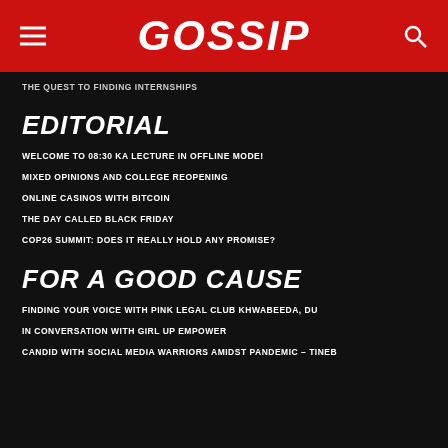GOSSIP
THE QUEST TO FINDING INTERNSHIPS
EDITORIAL
WELCOME TO 08:30 KA LECTURE IN OFFLINE MODE!
MIXED OPINIONS AND COLLEGE REOPENING
ONLINE CASINOS WITH BITCOIN
THE DAY CALLED BLACK FRIDAY
COP26 SUMMIT: DOES IT REALLY HOLD ANY PROMISE?
FOR A GOOD CAUSE
FINDING YOUR VOICE WITH PINK LEGAL CLUB KHWABEEDA, DU
IN CONVERSATION WITH GIRL UP EMPOWER
CANDID WITH SOCIAL MEDIA WARRIORS AMIDST PANDEMIC – TINEB